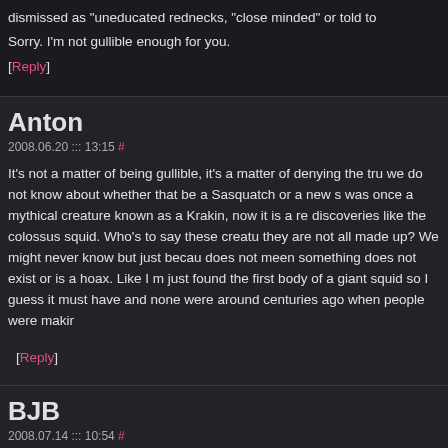dismissed as "uneducated rednecks, "close minded" or told to
Sorry. I'm not gullible enough for you.
[Reply]
Anton
2008.06.20 ::: 13:15 #
It's not a matter of being gullible, it's a matter of denying the tru we do not know about whether that be a Sasquatch or a new s was once a mythical creature known as a Krakin, now it is a re discoveries like the colossus squid. Who's to say these creatu they are not all made up? We might never know but just becau does not meen something does not exist or is a hoax. Like I m just found the first body of a giant squid so I guess it must have and none were around centuries ago when people were makir
[Reply]
BJB
2008.07.14 ::: 10:54 #
Actually, Anton, bodies of giant squids have been found all ove